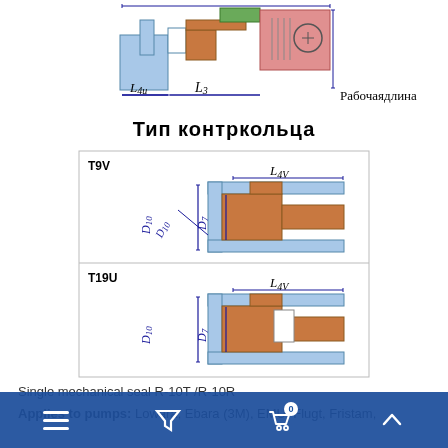[Figure (engineering-diagram): Top cross-section engineering diagram showing a mechanical seal assembly with dimension labels L4u, L3, and text 'Рабочаядлина']
Тип контркольца
[Figure (engineering-diagram): Two counter-ring type diagrams: T9V (top) and T19U (bottom), each showing cross-section with dimension labels L4V, D10, D7]
Single mechanical seal R-10T /R-10R
Applies to pumps: Lowara, Ebara (3M), EMU, Flugt, Fristam, T...na...o...c.